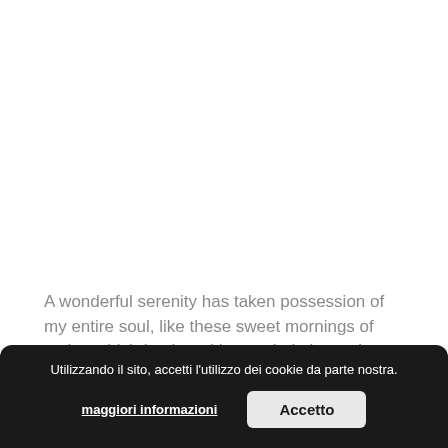A wonderful serenity has taken possession of my entire soul, like these sweet mornings of spring which I enjoy with my whole heart. I am alone, and feel the charm of existence
Utilizzando il sito, accetti l'utilizzo dei cookie da parte nostra.
maggiori informazioni
Accetto